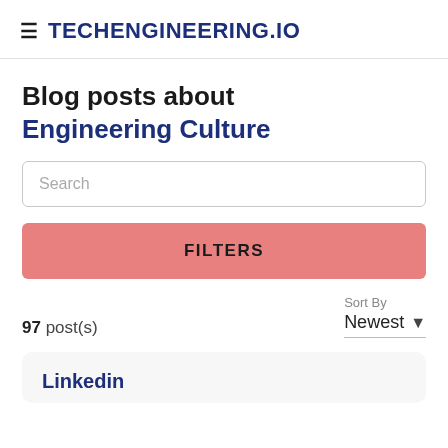≡ TECHENGINEERING.IO
Blog posts about Engineering Culture
Search
FILTERS
97 post(s)
Sort By Newest
Linkedin